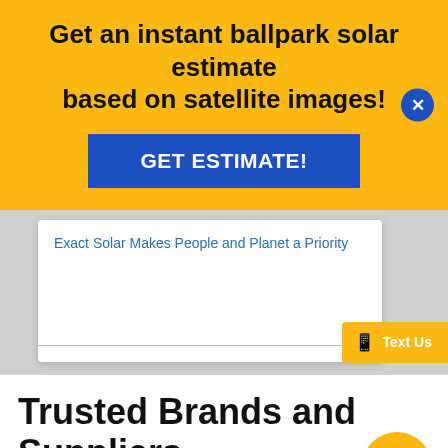Get an instant ballpark solar estimate based on satellite images!
GET ESTIMATE!
Exact Solar Makes People and Planet a Priority
Text Us
Trusted Brands and Suppliers
[Figure (logo): EcoX Universal logo in gray and green]
[Figure (other): Chat bubble icon button in yellow/gold]